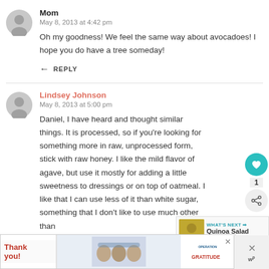Mom
May 8, 2013 at 4:42 pm
Oh my goodness! We feel the same way about avocadoes! I hope you do have a tree someday!
REPLY
Lindsey Johnson
May 8, 2013 at 5:00 pm
Daniel, I have heard and thought similar things. It is processed, so if you're looking for something more in raw, unprocessed form, stick with raw honey. I like the mild flavor of agave, but use it mostly for adding a little sweetness to dressings or on top of oatmeal. I like that I can use less of it than white sugar, something that I don't like to use much other than
[Figure (photo): Advertisement banner for Operation Gratitude with thank you text and masked workers]